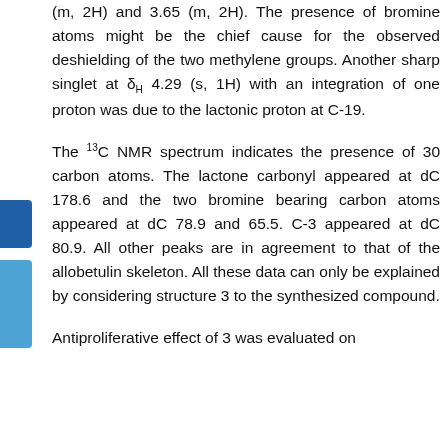(m, 2H) and 3.65 (m, 2H). The presence of bromine atoms might be the chief cause for the observed deshielding of the two methylene groups. Another sharp singlet at δH 4.29 (s, 1H) with an integration of one proton was due to the lactonic proton at C-19.
The 13C NMR spectrum indicates the presence of 30 carbon atoms. The lactone carbonyl appeared at dC 178.6 and the two bromine bearing carbon atoms appeared at dC 78.9 and 65.5. C-3 appeared at dC 80.9. All other peaks are in agreement to that of the allobetulin skeleton. All these data can only be explained by considering structure 3 to the synthesized compound.
Antiproliferative effect of 3 was evaluated on